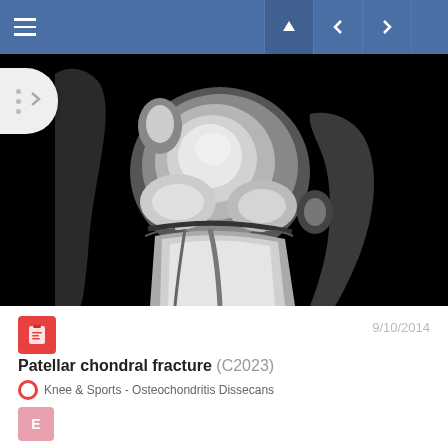Navigation bar with menu and controls
[Figure (photo): Sagittal MRI scan of a knee joint showing patellar chondral fracture. Grayscale medical imaging on black background.]
Patellar chondral fracture (C2023)
9/10/2014
Knee & Sports - Osteochondritis Dissecans
E
269  0  1